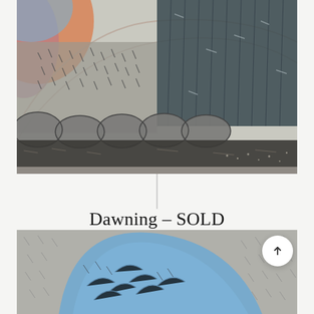[Figure (illustration): A detail of a mixed-media or watercolor artwork showing a landscape with dark conifer trees on the right, rounded rock shapes in the middle ground, a dark reflective water area at the bottom, and warm orange/blue colors on the upper left suggesting a dawn sky.]
Dawning – SOLD
[Figure (illustration): A partial view of another artwork showing a large blue curved shape (possibly a wave or abstract form) against a grey textured background with gestural mark-making.]